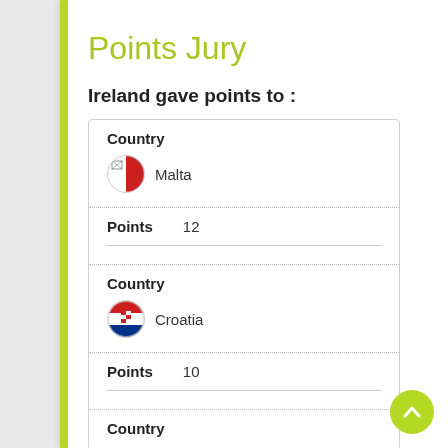Points Jury
Ireland gave points to :
| Country | Points |
| --- | --- |
| Malta | 12 |
| Croatia | 10 |
Country